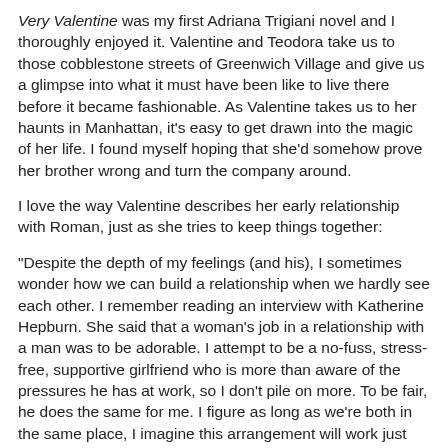Very Valentine was my first Adriana Trigiani novel and I thoroughly enjoyed it. Valentine and Teodora take us to those cobblestone streets of Greenwich Village and give us a glimpse into what it must have been like to live there before it became fashionable. As Valentine takes us to her haunts in Manhattan, it's easy to get drawn into the magic of her life. I found myself hoping that she'd somehow prove her brother wrong and turn the company around.
I love the way Valentine describes her early relationship with Roman, just as she tries to keep things together:
"Despite the depth of my feelings (and his), I sometimes wonder how we can build a relationship when we hardly see each other. I remember reading an interview with Katherine Hepburn. She said that a woman's job in a relationship with a man was to be adorable. I attempt to be a no-fuss, stress-free, supportive girlfriend who is more than aware of the pressures he has at work, so I don't pile on more. To be fair, he does the same for me. I figure as long as we're both in the same place, I imagine this arrangement will work just fine and get us to the next level (whatever that is)."